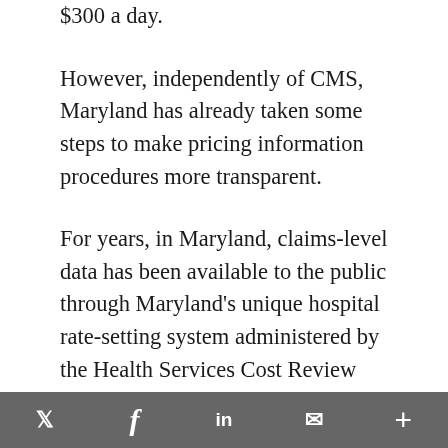$300 a day.
However, independently of CMS, Maryland has already taken some steps to make pricing information procedures more transparent.
For years, in Maryland, claims-level data has been available to the public through Maryland’s unique hospital rate-setting system administered by the Health Services Cost Review Commission. Nevertheless, that data is geared more toward policy and industry professionals, rather than
Twitter | Facebook | LinkedIn | Email | More